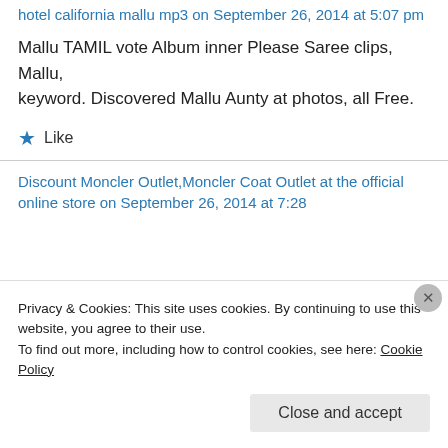hotel california mallu mp3 on September 26, 2014 at 5:07 pm
Mallu TAMIL vote Album inner Please Saree clips, Mallu, keyword. Discovered Mallu Aunty at photos, all Free.
★ Like
Discount Moncler Outlet,Moncler Coat Outlet at the official online store on September 26, 2014 at 7:28
Privacy & Cookies: This site uses cookies. By continuing to use this website, you agree to their use.
To find out more, including how to control cookies, see here: Cookie Policy